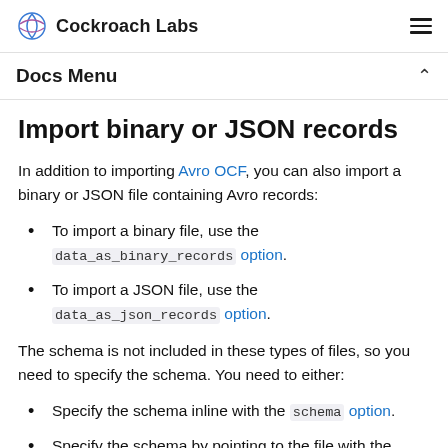Cockroach Labs
Docs Menu
Import binary or JSON records
In addition to importing Avro OCF, you can also import a binary or JSON file containing Avro records:
To import a binary file, use the data_as_binary_records option.
To import a JSON file, use the data_as_json_records option.
The schema is not included in these types of files, so you need to specify the schema. You need to either:
Specify the schema inline with the schema option.
Specify the schema by pointing to the file with the